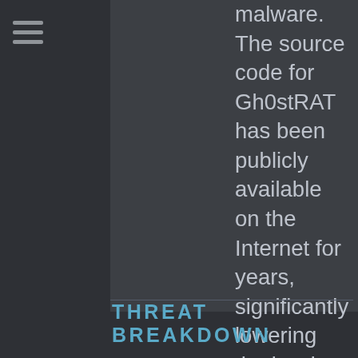[Figure (other): Navigation hamburger menu icon with three horizontal lines]
malware. The source code for Gh0stRAT has been publicly available on the Internet for years, significantly lowering the barrier for actors to modify and reuse the code in new attacks.
THREAT BREAKDOWN